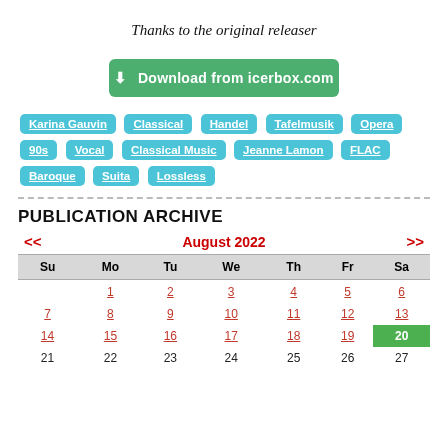Thanks to the original releaser
Download from icerbox.com
Karina Gauvin
Classical
Handel
Tafelmusik
Opera
90s
Vocal
Classical Music
Jeanne Lamon
FLAC
Baroque
Suita
Lossless
PUBLICATION ARCHIVE
| Su | Mo | Tu | We | Th | Fr | Sa |
| --- | --- | --- | --- | --- | --- | --- |
|  | 1 | 2 | 3 | 4 | 5 | 6 |
| 7 | 8 | 9 | 10 | 11 | 12 | 13 |
| 14 | 15 | 16 | 17 | 18 | 19 | 20 |
| 21 | 22 | 23 | 24 | 25 | 26 | 27 |